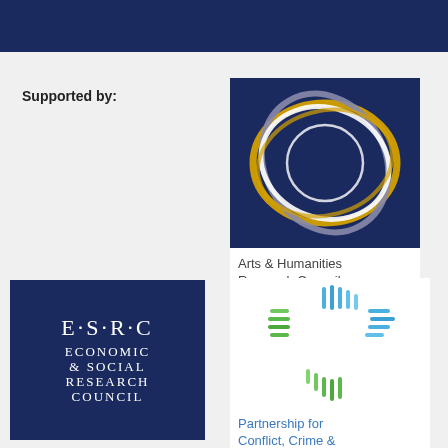Supported by:
[Figure (logo): Arts & Humanities Research Council logo — circular swirling design in gold, grey and white on dark navy background]
Arts & Humanities Research Council
[Figure (logo): ESRC Economic & Social Research Council logo — white serif text on dark navy square background reading E·S·R·C ECONOMIC & SOCIAL RESEARCH COUNCIL]
[Figure (logo): Partnership for Conflict, Crime & Security Research logo — radiating vertical bars in green and blue arranged in a circle on white background]
Partnership for Conflict, Crime & Security Research